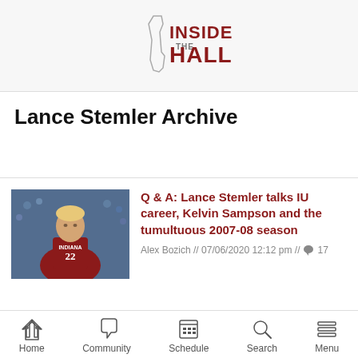Inside The Hall
Lance Stemler Archive
[Figure (photo): Basketball player wearing Indiana #22 red jersey on court with crowd in background]
Q & A: Lance Stemler talks IU career, Kelvin Sampson and the tumultuous 2007-08 season
Alex Bozich // 07/06/2020 12:12 pm // 17
Home  Community  Schedule  Search  Menu